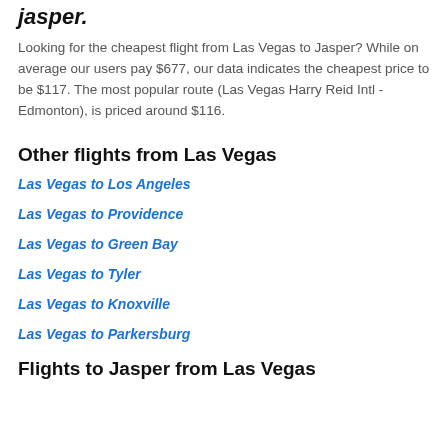jasper.
Looking for the cheapest flight from Las Vegas to Jasper? While on average our users pay $677, our data indicates the cheapest price to be $117. The most popular route (Las Vegas Harry Reid Intl - Edmonton), is priced around $116.
Other flights from Las Vegas
Las Vegas to Los Angeles
Las Vegas to Providence
Las Vegas to Green Bay
Las Vegas to Tyler
Las Vegas to Knoxville
Las Vegas to Parkersburg
Flights to Jasper from Las Vegas